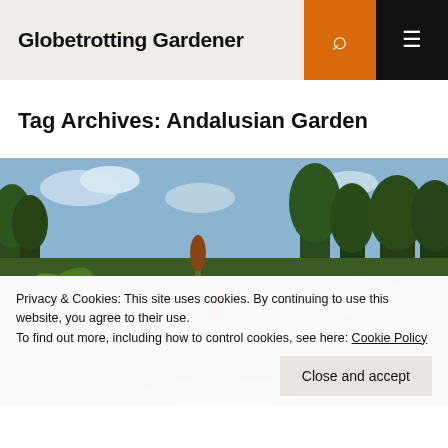Globetrotting Gardener
Tag Archives: Andalusian Garden
[Figure (photo): Garden landscape photo showing tall agave plants, fan palms, and pine trees against a partly cloudy sky, with an orange flowering plant visible in the center]
Privacy & Cookies: This site uses cookies. By continuing to use this website, you agree to their use.
To find out more, including how to control cookies, see here: Cookie Policy
Close and accept